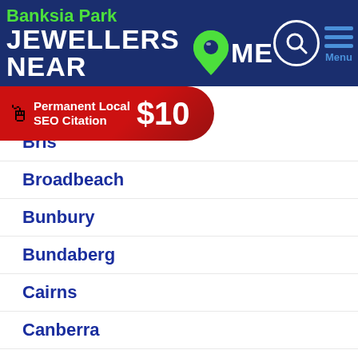Banksia Park JEWELLERS NEAR ME
[Figure (infographic): Red banner ad: 'Permanent Local SEO Citation $10' with hand cursor icon]
Brisbane (partially visible)
Broadbeach
Bunbury
Bundaberg
Cairns
Canberra
Central Coast
Coffs Harbour
Darwin
Geelong
Gold Coast
Hervey Bay
Hobart